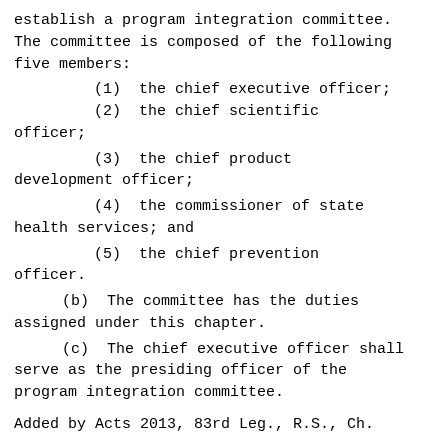establish a program integration committee. The committee is composed of the following five members:
(1)  the chief executive officer;
(2)  the chief scientific officer;
(3)  the chief product development officer;
(4)  the commissioner of state health services; and
(5)  the chief prevention officer.
(b)  The committee has the duties assigned under this chapter.
(c)  The chief executive officer shall serve as the presiding officer of the program integration committee.
Added by Acts 2013, 83rd Leg., R.S., Ch.